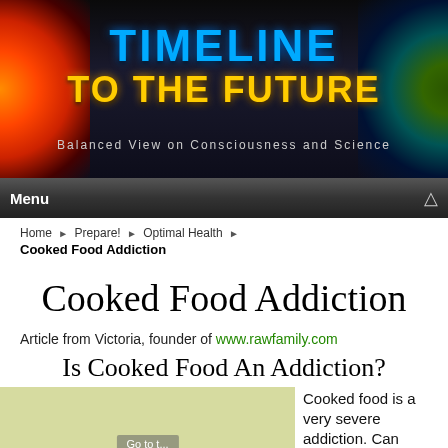[Figure (other): Website header banner for 'Timeline to the Future' with subtitle 'Balanced View on Consciousness and Science'. Dark background with sun/fire imagery on left and circular mandala on right.]
Menu
Home ▶ Prepare! ▶ Optimal Health ▶
Cooked Food Addiction
Cooked Food Addiction
Article from Victoria, founder of www.rawfamily.com
Is Cooked Food An Addiction?
Cooked food is a very severe addiction. Can